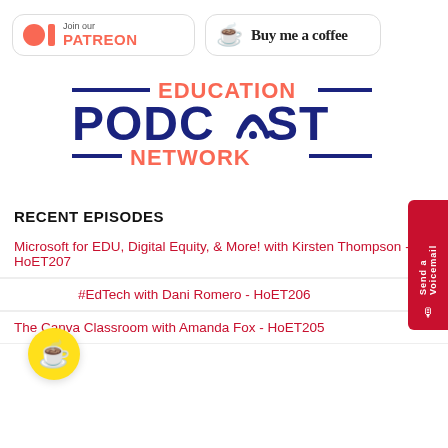[Figure (logo): Patreon join button with Patreon icon and text 'Join our PATREON']
[Figure (logo): Buy me a coffee button with coffee cup icon]
[Figure (logo): Education Podcast Network logo in dark blue and orange]
[Figure (other): Send a Voicemail red tab on right side]
RECENT EPISODES
Microsoft for EDU, Digital Equity, & More! with Kirsten Thompson - HoET207
[P...] #EdTech with Dani Romero - HoET206
The Canva Classroom with Amanda Fox - HoET205
[Figure (other): Yellow floating coffee cup button]